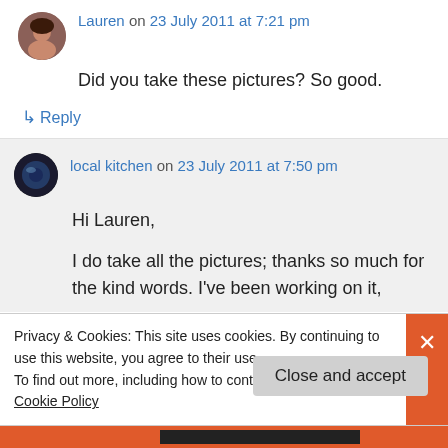Lauren on 23 July 2011 at 7:21 pm
Did you take these pictures? So good.
↳ Reply
local kitchen on 23 July 2011 at 7:50 pm
Hi Lauren,
I do take all the pictures; thanks so much for the kind words. I've been working on it,
Privacy & Cookies: This site uses cookies. By continuing to use this website, you agree to their use. To find out more, including how to control cookies, see here: Cookie Policy
Close and accept